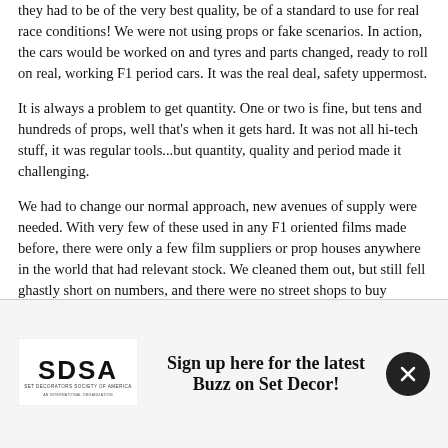they had to be of the very best quality, be of a standard to use for real race conditions! We were not using props or fake scenarios. In action, the cars would be worked on and tyres and parts changed, ready to roll on real, working F1 period cars. It was the real deal, safety uppermost.
It is always a problem to get quantity. One or two is fine, but tens and hundreds of props, well that's when it gets hard. It was not all hi-tech stuff, it was regular tools...but quantity, quality and period made it challenging.
We had to change our normal approach, new avenues of supply were needed. With very few of these used in any F1 oriented films made before, there were only a few film suppliers or prop houses anywhere in the world that had relevant stock. We cleaned them out, but still fell ghastly short on numbers, and there were no street shops to buy appropriate modern tools to age.
EBay was too time consuming...one tool here, one tool there. So, we would need to access fans, collectors and museums. But they, too, fell short or were too time consuming.
Sign up here for the latest Buzz on Set Decor!